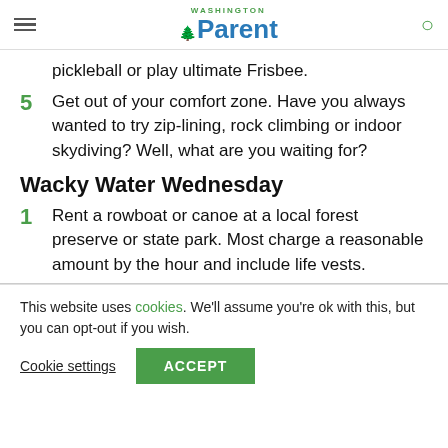Washington Parent
pickleball or play ultimate Frisbee.
5  Get out of your comfort zone. Have you always wanted to try zip-lining, rock climbing or indoor skydiving? Well, what are you waiting for?
Wacky Water Wednesday
1  Rent a rowboat or canoe at a local forest preserve or state park. Most charge a reasonable amount by the hour and include life vests.
This website uses cookies. We'll assume you're ok with this, but you can opt-out if you wish. Cookie settings  ACCEPT